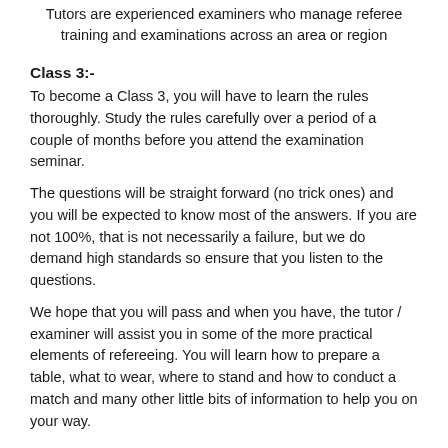Tutors are experienced examiners who manage referee training and examinations across an area or region
Class 3:-
To become a Class 3, you will have to learn the rules thoroughly. Study the rules carefully over a period of a couple of months before you attend the examination seminar.
The questions will be straight forward (no trick ones) and you will be expected to know most of the answers. If you are not 100%, that is not necessarily a failure, but we do demand high standards so ensure that you listen to the questions.
We hope that you will pass and when you have, the tutor / examiner will assist you in some of the more practical elements of refereeing. You will learn how to prepare a table, what to wear, where to stand and how to conduct a match and many other little bits of information to help you on your way.